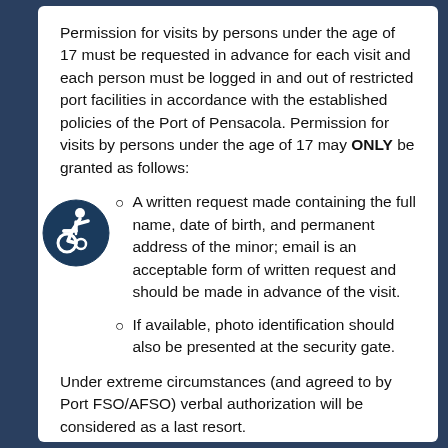Permission for visits by persons under the age of 17 must be requested in advance for each visit and each person must be logged in and out of restricted port facilities in accordance with the established policies of the Port of Pensacola. Permission for visits by persons under the age of 17 may ONLY be granted as follows:
A written request made containing the full name, date of birth, and permanent address of the minor; email is an acceptable form of written request and should be made in advance of the visit.
If available, photo identification should also be presented at the security gate.
[Figure (illustration): Accessibility icon: a circular dark blue icon with a white wheelchair accessibility symbol (person in wheelchair, dynamic/active pose)]
Under extreme circumstances (and agreed to by Port FSO/AFSO) verbal authorization will be considered as a last resort.